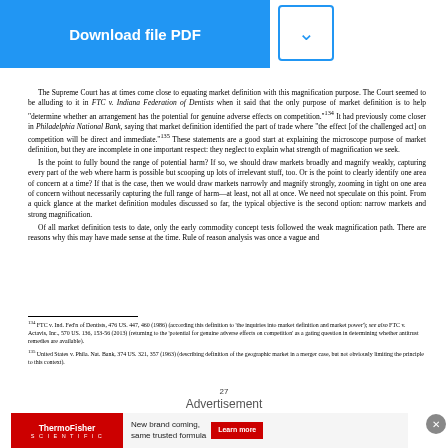The Supreme Court has at times come close to equating market definition with this magnification purpose. The Court seemed to be alluding to it in FTC v. Indiana Federation of Dentists when it said that the only purpose of market definition is to help "determine whether an arrangement has the potential for genuine adverse effects on competition." It had previously come closer in Philadelphia National Bank, saying that market definition identified the part of trade where "the effect [of the challenged act] on competition will be direct and immediate." These statements are a good start at explaining the microscope purpose of market definition, but they are incomplete in one important respect: they neglect to explain what strength of magnification we seek. Is the point to fully bound the range of potential harm? If so, we should draw markets broadly and magnify weakly, capturing every part of the web where harm is possible but scooping up lots of irrelevant stuff, too. Or is the point to clearly identify one area of concern at a time? If that is the case, then we would draw markets narrowly and magnify strongly, zooming in tight on one area of concern without necessarily capturing the full range of harm—at least, not all at once. We need not speculate on this point. From a quick glance at the market definition modules discussed so far, the typical objective is the second option: narrow markets and strong magnification. Of all market definition tests to date, only the early commodity concept tests followed the weak magnification path. There are reasons why this may have made sense at the time. Rule of reason analysis was once a vague and
134 FTC v. Ind. Fed'n of Dentists, 476 US. 447, 460 (1986) (according this definition to 'the inquiries into market definition and market power'); see also FTC v. Actavis, Inc., 570 US. 136, 153-56 (2013) (returning to the 'potential for genuine adverse effects on competition' as a gating question in determining whether antitrust remedies are available).
135 United States v. Phila. Nat. Bank, 374 US. 321, 357 (1963) (describing definition of the geographic market in a merger case, but not obviously limiting the principle to this context).
27
Advertisement